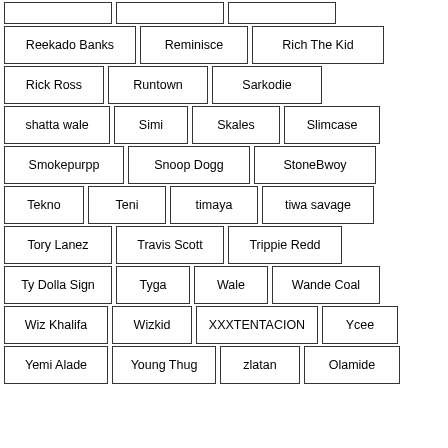[Figure (other): A tag cloud / list of artist names displayed as labeled rectangular tag boxes arranged in rows. Artists include: Reekado Banks, Reminisce, Rich The Kid, Rick Ross, Runtown, Sarkodie, shatta wale, Simi, Skales, Slimcase, Smokepurpp, Snoop Dogg, StoneBwoy, Tekno, Teni, timaya, tiwa savage, Tory Lanez, Travis Scott, Trippie Redd, Ty Dolla Sign, Tyga, Wale, Wande Coal, Wiz Khalifa, Wizkid, XXXTENTACION, Ycee, Yemi Alade, Young Thug, zlatan, Olamide]